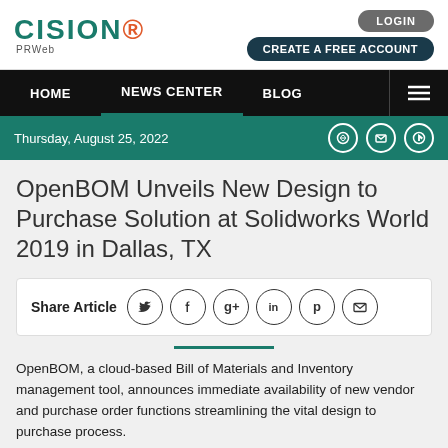CISION PRWeb - LOGIN - CREATE A FREE ACCOUNT
HOME | NEWS CENTER | BLOG
Thursday, August 25, 2022
OpenBOM Unveils New Design to Purchase Solution at Solidworks World 2019 in Dallas, TX
Share Article
OpenBOM, a cloud-based Bill of Materials and Inventory management tool, announces immediate availability of new vendor and purchase order functions streamlining the vital design to purchase process.